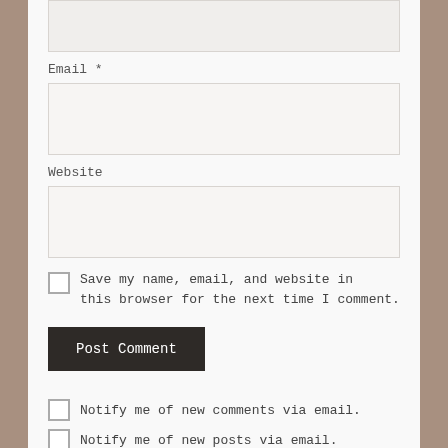[empty input field at top]
Email *
[email input field]
Website
[website input field]
Save my name, email, and website in this browser for the next time I comment.
Post Comment
Notify me of new comments via email.
Notify me of new posts via email.